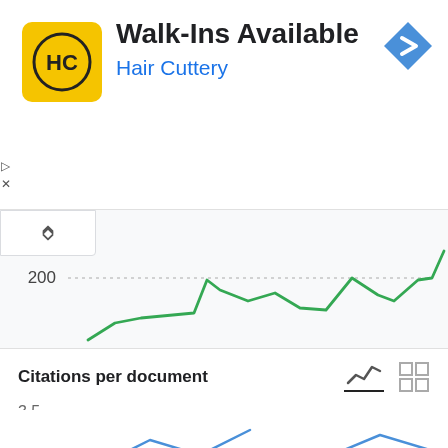[Figure (screenshot): Hair Cuttery advertisement banner: yellow HC logo, 'Walk-Ins Available' in bold, 'Hair Cuttery' in blue, navigation arrow icon top-right, play and close icons on left]
[Figure (line-chart): Documents per year]
Citations per document
3.5